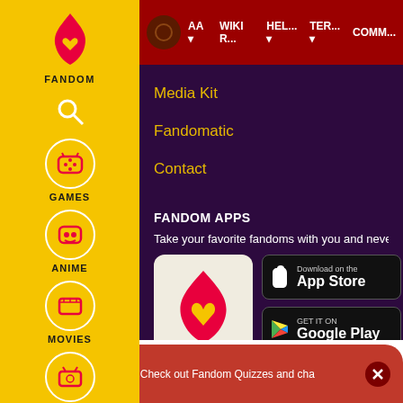[Figure (screenshot): Fandom website sidebar with yellow background showing logo, search, Games, Anime, Movies, TV, Video icons]
AA ▾   WIKI R...   HEL... ▾   TER... ▾   COMM...
Media Kit
Fandomatic
Contact
FANDOM APPS
Take your favorite fandoms with you and never miss a bea
[Figure (logo): Fandom app icon - pink flame with heart on cream background]
[Figure (screenshot): Download on the App Store button]
[Figure (screenshot): GET IT ON Google Play button]
Follow on IG   TikTok   Join Fan Lab   Check out Fandom Quizzes and cha